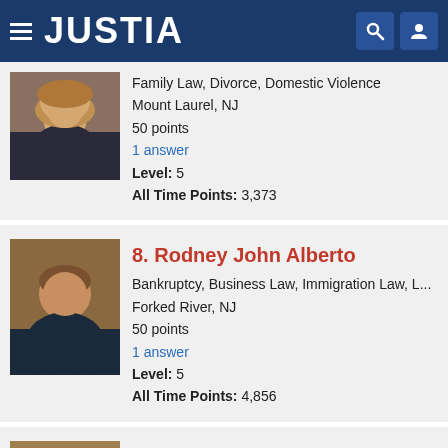JUSTIA
Family Law, Divorce, Domestic Violence
Mount Laurel, NJ
50 points
1 answer
Level: 5
All Time Points: 3,373
8. Rodney John Alberto
Bankruptcy, Business Law, Immigration Law, L...
Forked River, NJ
50 points
1 answer
Level: 5
All Time Points: 4,856
9. Karra Kingston
Bankruptcy, Collections, Consumer Law, Forec...